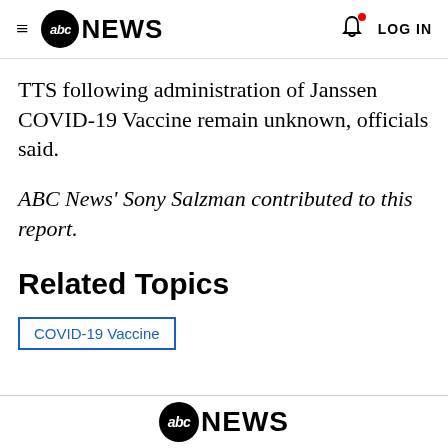abc NEWS — LOG IN
TTS following administration of Janssen COVID-19 Vaccine remain unknown, officials said.
ABC News' Sony Salzman contributed to this report.
Related Topics
COVID-19 Vaccine
abc NEWS